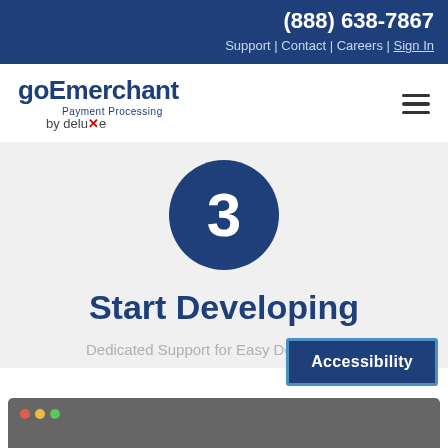(888) 638-7867 Support | Contact | Careers | Sign In
[Figure (logo): goEmerchant Payment Processing by deluxe logo with hamburger menu icon]
[Figure (infographic): Step 3 circle icon - dark blue circle with white number 3]
Start Developing
Dedicated Support for Easy Development
[Figure (screenshot): Bottom strip of a browser/application window with macOS-style traffic light buttons (red, yellow, green)]